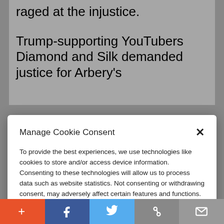raged at the injustice.
Trump-supporting YouTubers Diamond and Silk demanded justice for Arbery's
Manage Cookie Consent
To provide the best experiences, we use technologies like cookies to store and/or access device information. Consenting to these technologies will allow us to process data such as website statistics. Not consenting or withdrawing consent, may adversely affect certain features and functions.
Accept
Cookie Policy  Privacy Policy
posted a tweet addressing the notion that the McMichaels were trying to make
[Figure (screenshot): Social share bar with buttons: add (+), Facebook (f), Twitter bird, link/share icon, and email envelope icon]